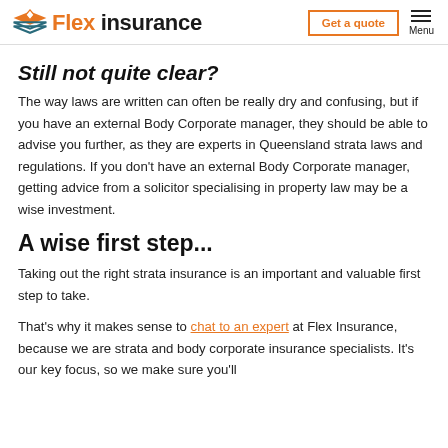Flex Insurance — Get a quote | Menu
Still not quite clear?
The way laws are written can often be really dry and confusing, but if you have an external Body Corporate manager, they should be able to advise you further, as they are experts in Queensland strata laws and regulations. If you don't have an external Body Corporate manager, getting advice from a solicitor specialising in property law may be a wise investment.
A wise first step...
Taking out the right strata insurance is an important and valuable first step to take.
That's why it makes sense to chat to an expert at Flex Insurance, because we are strata and body corporate insurance specialists. It's our key focus, so we make sure you'll